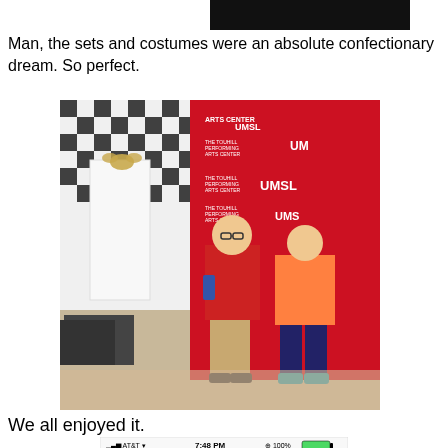[Figure (photo): Black rectangular bar at top, partially visible, appears to be a cropped image edge]
Man, the sets and costumes were an absolute confectionary dream. So perfect.
[Figure (photo): Two children standing in front of a red UMSL Touhill Performing Arts Center step-and-repeat banner. The boy on the left wears a red shirt with a blue sling bag and khaki pants. The girl on the right wears an orange/coral jacket. Behind them is a black and white checkered backdrop with a white gift box with a gold bow.]
We all enjoyed it.
[Figure (screenshot): Bottom of iPhone screen showing AT&T signal, 7:48 PM, 100% battery, with Done and Photo navigation bar]